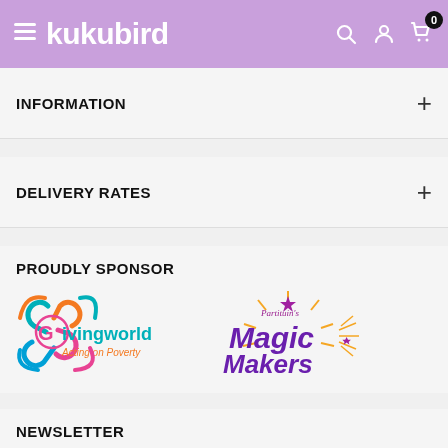kukubird
INFORMATION
DELIVERY RATES
PROUDLY SPONSOR
[Figure (logo): Givingworld Acting on Poverty logo and Partituin's Magic Makers logo side by side]
NEWSLETTER
Join Our News Letter For New Deals &